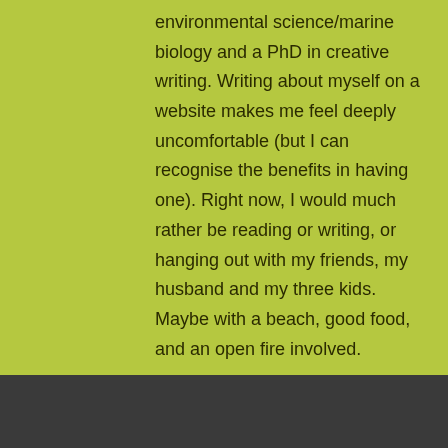environmental science/marine biology and a PhD in creative writing. Writing about myself on a website makes me feel deeply uncomfortable (but I can recognise the benefits in having one). Right now, I would much rather be reading or writing, or hanging out with my friends, my husband and my three kids. Maybe with a beach, good food, and an open fire involved.
I live in Victoria's Macedon Ranges, one hour from Melbourne.
[Figure (photo): Partial photo strip at the bottom of the page showing what appears to be people and a sign, partially visible]